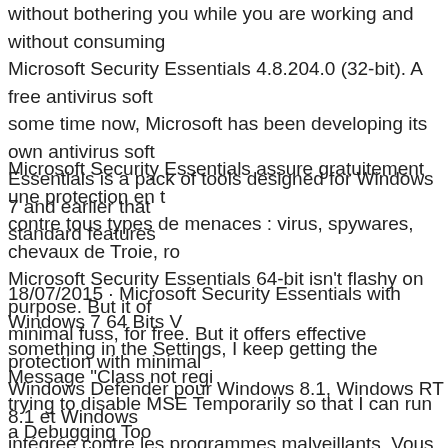without bothering you while you are working and without consuming Microsoft Security Essentials 4.8.204.0 (32-bit). A free antivirus soft some time now, Microsoft has been developing its own antivirus soft Essentials is a pack of tools designed for Windows 7 and earlier that standard features
Microsoft Security Essentials assure gratuitement une protection en t contre tous types de menaces : virus, spywares, chevaux de Troie, ro Microsoft Security Essentials 64-bit isn't flashy on purpose. But it of minimal fuss, for free. But it offers effective protection with minimal
18/07/2015 · Microsoft Security Essentials with Windows 7 64 Bits V something in the Settings, I keep getting the Message "Class not regi trying to disable MSE Temporarily so that I can run a Debugging Too essentials 64 bit free download - Microsoft Security Essentials (64-b Essentials, LiteSpeed 64 bit, and many more programs
Windows Defender pour Windows 8.1, Windows RT 8.1 et Windows intégrée contre les programmes malveillants. Vous ne pouvez pas uti Essentials, mais vous n'en avez pas besoin : Windows Defender est c